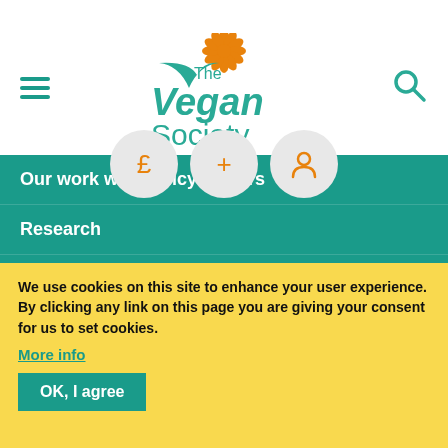[Figure (logo): The Vegan Society logo with orange flower/leaf motif and teal text]
[Figure (infographic): Three circular grey icon buttons showing pound sign, plus sign, and person/account icon in orange]
Our work with policy makers
Research
Research News
Research Advisory Committee
Researcher Network
We use cookies on this site to enhance your user experience. By clicking any link on this page you are giving your consent for us to set cookies.
More info
OK, I agree